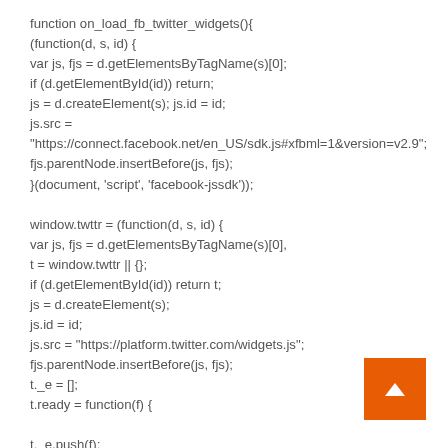function on_load_fb_twitter_widgets(){
(function(d, s, id) {
var js, fjs = d.getElementsByTagName(s)[0];
if (d.getElementById(id)) return;
js = d.createElement(s); js.id = id;
js.src =
"https://connect.facebook.net/en_US/sdk.js#xfbml=1&version=v2.9";
fjs.parentNode.insertBefore(js, fjs);
}(document, 'script', 'facebook-jssdk'));

window.twttr = (function(d, s, id) {
var js, fjs = d.getElementsByTagName(s)[0],
t = window.twttr || {};
if (d.getElementById(id)) return t;
js = d.createElement(s);
js.id = id;
js.src = "https://platform.twitter.com/widgets.js";
fjs.parentNode.insertBefore(js, fjs);
t._e = [];
t.ready = function(f) {

t._e.push(f);